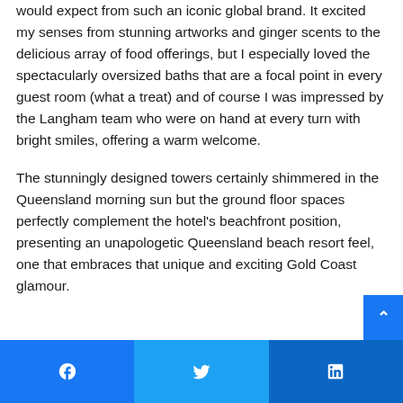would expect from such an iconic global brand. It excited my senses from stunning artworks and ginger scents to the delicious array of food offerings, but I especially loved the spectacularly oversized baths that are a focal point in every guest room (what a treat) and of course I was impressed by the Langham team who were on hand at every turn with bright smiles, offering a warm welcome.
The stunningly designed towers certainly shimmered in the Queensland morning sun but the ground floor spaces perfectly complement the hotel's beachfront position, presenting an unapologetic Queensland beach resort feel, one that embraces that unique and exciting Gold Coast glamour.
Facebook | Twitter | LinkedIn social share buttons